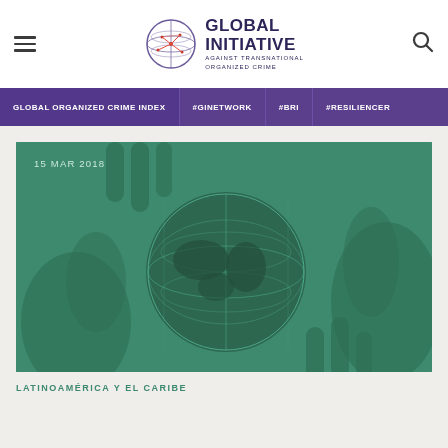[Figure (logo): Global Initiative Against Transnational Organized Crime logo with globe icon and text]
GLOBAL ORGANIZED CRIME INDEX  #GINETWORK  #BRI  #RESILIENCER
[Figure (photo): Green-tinted photo of hands holding a globe, dated 15 MAR 2018]
LATINOAMÉRICA Y EL CARIBE